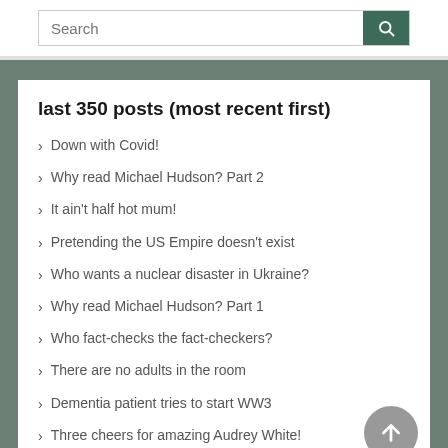Search
last 350 posts (most recent first)
Down with Covid!
Why read Michael Hudson? Part 2
It ain't half hot mum!
Pretending the US Empire doesn't exist
Who wants a nuclear disaster in Ukraine?
Why read Michael Hudson? Part 1
Who fact-checks the fact-checkers?
There are no adults in the room
Dementia patient tries to start WW3
Three cheers for amazing Audrey White!